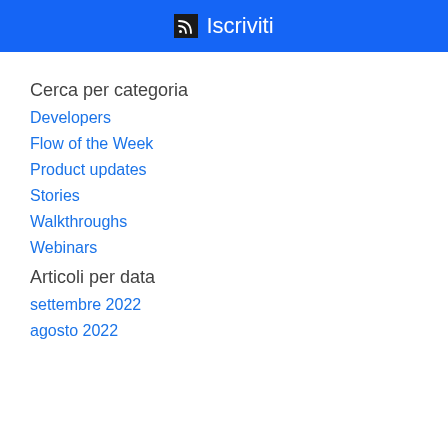Iscriviti
Cerca per categoria
Developers
Flow of the Week
Product updates
Stories
Walkthroughs
Webinars
Articoli per data
settembre 2022
agosto 2022